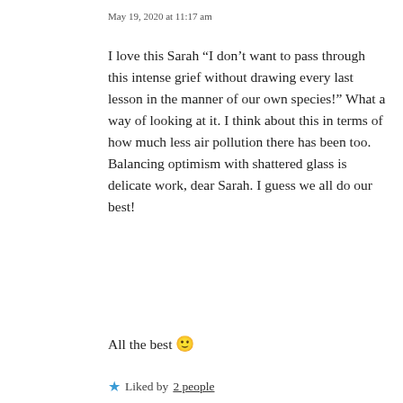May 19, 2020 at 11:17 am
I love this Sarah “I don’t want to pass through this intense grief without drawing every last lesson in the manner of our own species!” What a way of looking at it. I think about this in terms of how much less air pollution there has been too. Balancing optimism with shattered glass is delicate work, dear Sarah. I guess we all do our best!
All the best 🙂
★ Liked by 2 people
Privacy & Cookies: This site uses cookies. By continuing to use this website, you agree to their use. To find out more, including how to control cookies, see here: Cookie Policy